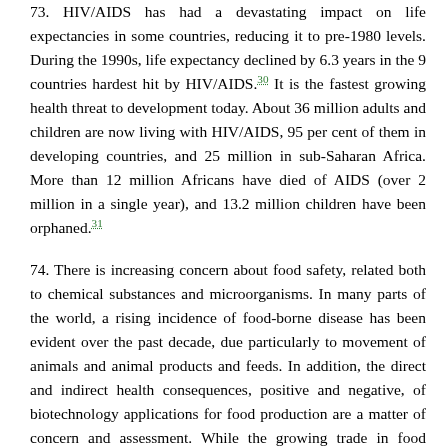73. HIV/AIDS has had a devastating impact on life expectancies in some countries, reducing it to pre-1980 levels. During the 1990s, life expectancy declined by 6.3 years in the 9 countries hardest hit by HIV/AIDS.[30] It is the fastest growing health threat to development today. About 36 million adults and children are now living with HIV/AIDS, 95 per cent of them in developing countries, and 25 million in sub-Saharan Africa. More than 12 million Africans have died of AIDS (over 2 million in a single year), and 13.2 million children have been orphaned.[31]
74. There is increasing concern about food safety, related both to chemical substances and microorganisms. In many parts of the world, a rising incidence of food-borne disease has been evident over the past decade, due particularly to movement of animals and animal products and feeds. In addition, the direct and indirect health consequences, positive and negative, of biotechnology applications for food production are a matter of concern and assessment. While the growing trade in food brings benefits, it can also contribute to an increased dissemination of food-borne disease.
75. The reliance of over 2 billion people in the developing world on